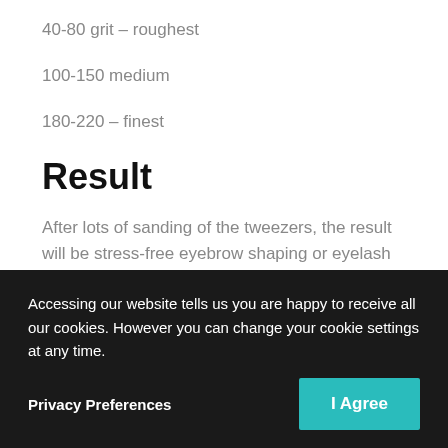40-80 grit – roughest
100-150 medium
180-220 – finest
Result
After lots of sanding of the tweezers, the result will be stress-free eyebrow shaping or eyelash extensions appointments! Where the tweezers grip the hair every time and remove it from the root or picking up those perfect volume eyelash extensions! But tweezer care gone wrong or tweezers can cause massive stress
Accessing our website tells us you are happy to receive all our cookies. However you can change your cookie settings at any time.
Privacy Preferences
I Agree